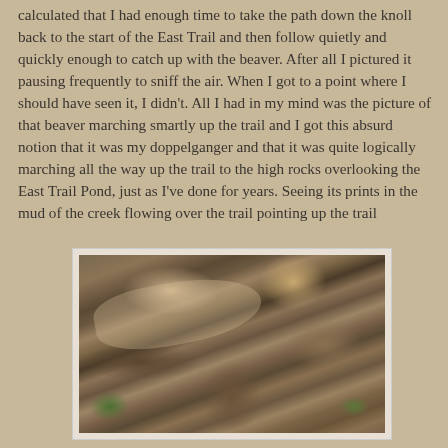calculated that I had enough time to take the path down the knoll back to the start of the East Trail and then follow quietly and quickly enough to catch up with the beaver. After all I pictured it pausing frequently to sniff the air. When I got to a point where I should have seen it, I didn't. All I had in my mind was the picture of that beaver marching smartly up the trail and I got this absurd notion that it was my doppelganger and that it was quite logically marching all the way up the trail to the high rocks overlooking the East Trail Pond, just as I've done for years. Seeing its prints in the mud of the creek flowing over the trail pointing up the trail
[Figure (photo): Close-up photograph of muddy ground with fallen leaves, wet mud, and debris on a forest trail, showing beaver tracks or impressions in the mud.]